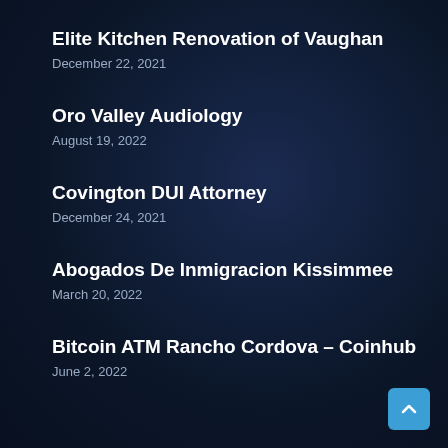Elite Kitchen Renovation of Vaughan
December 22, 2021
Oro Valley Audiology
August 19, 2022
Covington DUI Attorney
December 24, 2021
Abogados De Inmigracion Kissimmee
March 20, 2022
Bitcoin ATM Rancho Cordova – Coinhub
June 2, 2022